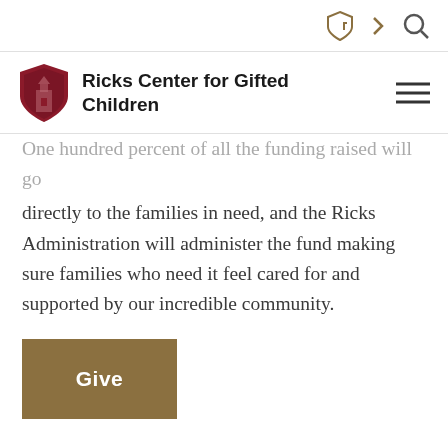Ricks Center for Gifted Children
One hundred percent of all the funding raised will go directly to the families in need, and the Ricks Administration will administer the fund making sure families who need it feel cared for and supported by our incredible community.
[Figure (other): Brown 'Give' button]
Outdoor Classroom Fund
Help us add more creative and interactive toys and equipment to our primary and middle school playgrounds. Activity kits, such as Blue Blocks, for